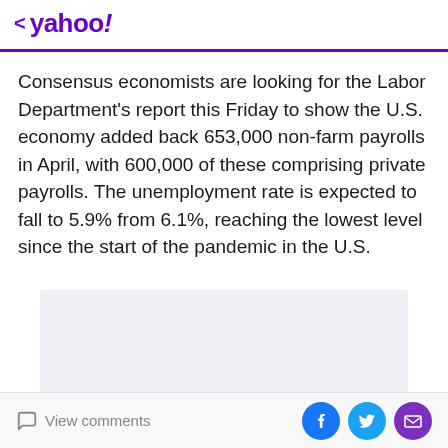< yahoo!
Consensus economists are looking for the Labor Department's report this Friday to show the U.S. economy added back 653,000 non-farm payrolls in April, with 600,000 of these comprising private payrolls. The unemployment rate is expected to fall to 5.9% from 6.1%, reaching the lowest level since the start of the pandemic in the U.S.
[Figure (other): Gray advertisement placeholder box]
View comments | Facebook share | Twitter share | Email share